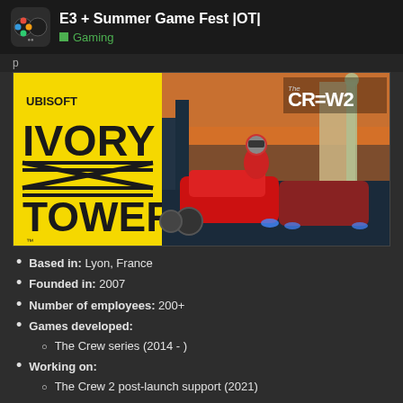E3 + Summer Game Fest |OT| — Gaming
[Figure (illustration): Ubisoft Ivory Tower studio logo on yellow background (left) and The Crew 2 game key art with racing driver, cars, motorcycles, and Statue of Liberty (right)]
Based in: Lyon, France
Founded in: 2007
Number of employees: 200+
Games developed: The Crew series (2014 - )
Working on: The Crew 2 post-launch support (2021)
Since its establishment, Ivory Tower has only ever worked on The Crew series. The original game was re... the sequel was released in 2017 and is su...